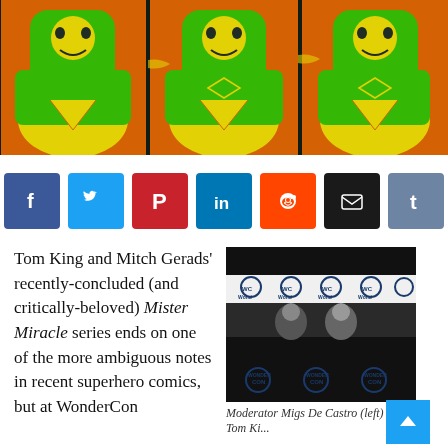[Figure (illustration): Psychedelic pop-art style colorized image of a superhero figure (Mister Miracle), shown in three panels tiled side by side with vivid green, yellow, orange and red colors]
[Figure (infographic): Social sharing buttons row: Facebook (blue), Twitter (cyan), Pinterest (red), LinkedIn (blue), Reddit (orange), Email (black), Tumblr (steel blue)]
Tom King and Mitch Gerads' recently-concluded (and critically-beloved) Mister Miracle series ends on one of the more ambiguous notes in recent superhero comics, but at WonderCon
[Figure (photo): Photo of panelists at WonderCon seated at a table with WonderCon branded backdrop and tablecloth]
Moderator Migs De Castro (left) a... Tom Ki...